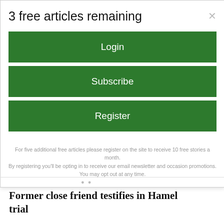3 free articles remaining
Login
Subscribe
Register
For five additional free articles please register on the site to receive 10 free stories a month. By registering you'll be opting in to receive our email newsletter and occasion promotions. You may opt out at any time.
Former close friend testifies in Hamel trial